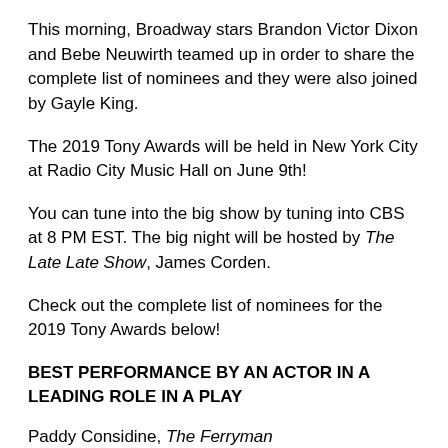This morning, Broadway stars Brandon Victor Dixon and Bebe Neuwirth teamed up in order to share the complete list of nominees and they were also joined by Gayle King.
The 2019 Tony Awards will be held in New York City at Radio City Music Hall on June 9th!
You can tune into the big show by tuning into CBS at 8 PM EST. The big night will be hosted by The Late Late Show, James Corden.
Check out the complete list of nominees for the 2019 Tony Awards below!
BEST PERFORMANCE BY AN ACTOR IN A LEADING ROLE IN A PLAY
Paddy Considine, The Ferryman
Bryan Cranston, Network